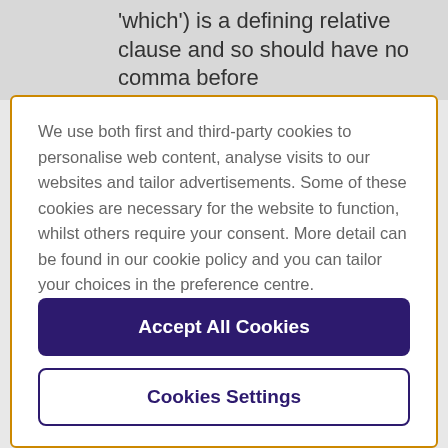'which') is a defining relative clause and so should have no comma before
We use both first and third-party cookies to personalise web content, analyse visits to our websites and tailor advertisements. Some of these cookies are necessary for the website to function, whilst others require your consent. More detail can be found in our cookie policy and you can tailor your choices in the preference centre.
Accept All Cookies
Cookies Settings